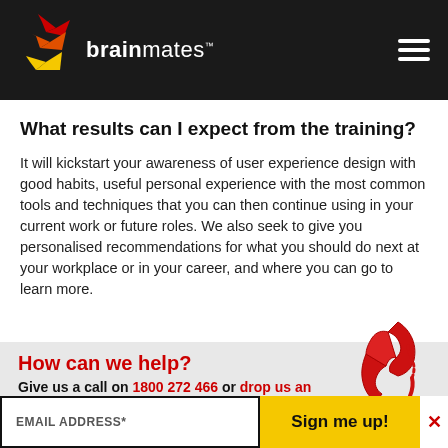[Figure (logo): Brainmates logo with colorful arrow shapes and white text on dark background]
What results can I expect from the training?
It will kickstart your awareness of user experience design with good habits, useful personal experience with the most common tools and techniques that you can then continue using in your current work or future roles. We also seek to give you personalised recommendations for what you should do next at your workplace or in your career, and where you can go to learn more.
How can we help?
Give us a call on 1800 272 466 or drop us an
[Figure (illustration): Red retro telephone handset illustration]
EMAIL ADDRESS*
Sign me up!